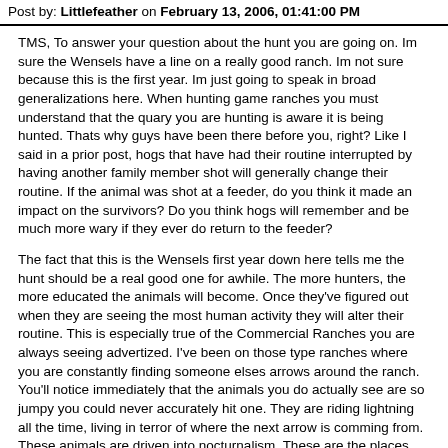Post by: Littlefeather on February 13, 2006, 01:41:00 PM
TMS, To answer your question about the hunt you are going on. Im sure the Wensels have a line on a really good ranch. Im not sure because this is the first year. Im just going to speak in broad generalizations here. When hunting game ranches you must understand that the quary you are hunting is aware it is being hunted. Thats why guys have been there before you, right? Like I said in a prior post, hogs that have had their routine interrupted by having another family member shot will generally change their routine. If the animal was shot at a feeder, do you think it made an impact on the survivors? Do you think hogs will remember and be much more wary if they ever do return to the feeder?
The fact that this is the Wensels first year down here tells me the hunt should be a real good one for awhile. The more hunters, the more educated the animals will become. Once they've figured out when they are seeing the most human activity they will alter their routine. This is especially true of the Commercial Ranches you are always seeing advertized. I've been on those type ranches where you are constantly finding someone elses arrows around the ranch. You'll notice immediately that the animals you do actually see are so jumpy you could never accurately hit one. They are riding lightning all the time, living in terror of where the next arrow is comming from. These animals are driven into nocturnalism. These are the places you will want to concentrate on hunting strictly nights. Sorry, the full moon or lights are a requirment.